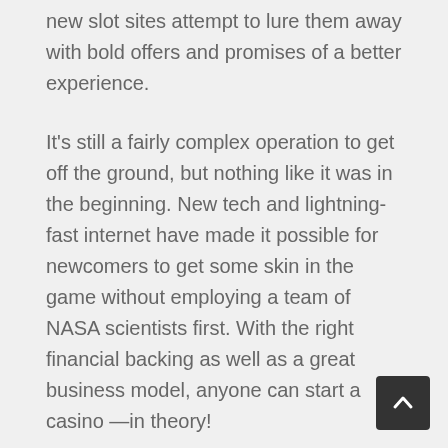new slot sites attempt to lure them away with bold offers and promises of a better experience.
It's still a fairly complex operation to get off the ground, but nothing like it was in the beginning. New tech and lightning-fast internet have made it possible for newcomers to get some skin in the game without employing a team of NASA scientists first. With the right financial backing as well as a great business model, anyone can start a casino —in theory!
But, things are never as simple as they first appear and there are actually many things that need to come together to make a great online casino. Let's take a look at our selection process that we use to decide which sites are worthy of your attention.